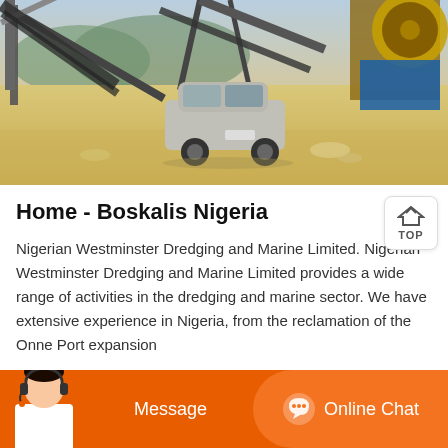[Figure (photo): Outdoor mining or quarry site with a silver/grey SUV/van driving on sandy ground, large conveyor belts and industrial machinery in the background, mountains visible in the distance.]
Home - Boskalis Nigeria
Nigerian Westminster Dredging and Marine Limited. Nigerian Westminster Dredging and Marine Limited provides a wide range of activities in the dredging and marine sector. We have extensive experience in Nigeria, from the reclamation of the Onne Port expansion
[Figure (screenshot): Orange chat bar at the bottom with a customer service avatar on the left, a 'Message' button in the center-left, and an 'Online Chat' button with a headset icon on the right.]